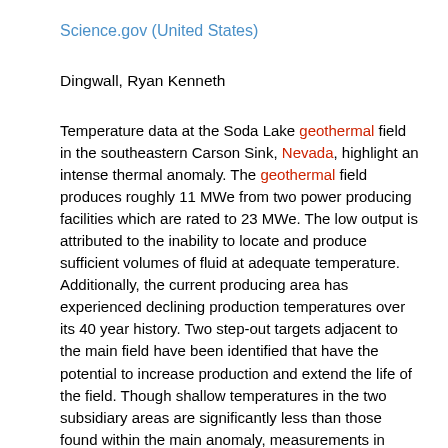Science.gov (United States)
Dingwall, Ryan Kenneth
Temperature data at the Soda Lake geothermal field in the southeastern Carson Sink, Nevada, highlight an intense thermal anomaly. The geothermal field produces roughly 11 MWe from two power producing facilities which are rated to 23 MWe. The low output is attributed to the inability to locate and produce sufficient volumes of fluid at adequate temperature. Additionally, the current producing area has experienced declining production temperatures over its 40 year history. Two step-out targets adjacent to the main field have been identified that have the potential to increase production and extend the life of the field. Though shallow temperatures in the two subsidiary areas are significantly less than those found within the main anomaly, measurements in deeper wells (>1,000 m) show that temperatures viable for utilization are present. High-pass filtering of the available complete Bouguer gravity data indicates that geothermal flow is present within the shallow sediments of the two subsidiary areas. Significant faulting is observed in the seismic data in both of the subsidiary areas. These structures